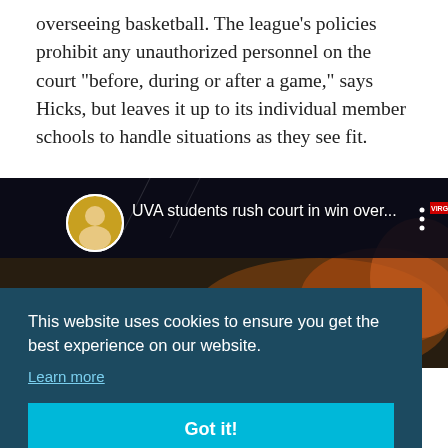overseeing basketball. The league's policies prohibit any unauthorized personnel on the court "before, during or after a game," says Hicks, but leaves it up to its individual member schools to handle situations as they see fit.
[Figure (screenshot): Video thumbnail showing UVA students rushing the court, with overlay text 'UVA students rush court in win over...' and a VIRGIN badge in the top right corner. There is a circular avatar of a person on the left and three vertical dots on the right side.]
This website uses cookies to ensure you get the best experience on our website.
Learn more
Got it!
ays Hicks. "They feel that trying to prevent kids from